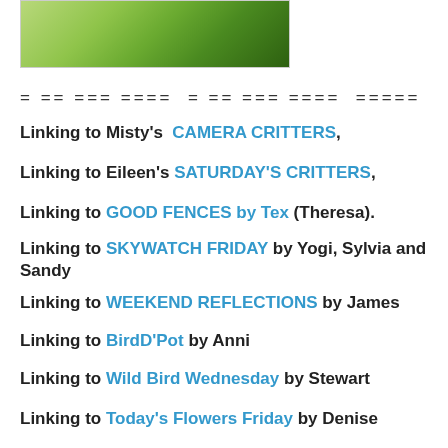[Figure (photo): Partial photo showing green foliage/vegetation, cropped at top of page]
= == === ==== = == === === ==== ====
Linking to Misty's CAMERA CRITTERS,
Linking to Eileen's SATURDAY'S CRITTERS,
Linking to GOOD FENCES by Tex (Theresa).
Linking to SKYWATCH FRIDAY by Yogi, Sylvia and Sandy
Linking to WEEKEND REFLECTIONS by James
Linking to BirdD'Pot by Anni
Linking to Wild Bird Wednesday by Stewart
Linking to Today's Flowers Friday by Denise